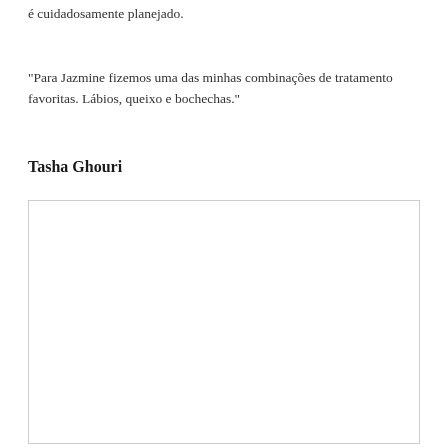é cuidadosamente planejado.
“Para Jazmine fizemos uma das minhas combinações de tratamento favoritas. Lábios, queixo e bochechas.”
Tasha Ghouri
[Figure (photo): Blank white photo placeholder box with light gray border]